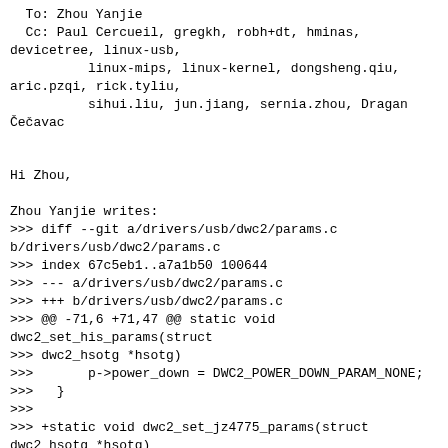To: Zhou Yanjie
  Cc: Paul Cercueil, gregkh, robh+dt, hminas, devicetree, linux-usb,
          linux-mips, linux-kernel, dongsheng.qiu, aric.pzqi, rick.tyliu,
          sihui.liu, jun.jiang, sernia.zhou, Dragan Čečavac


Hi Zhou,

Zhou Yanjie writes:
>>> diff --git a/drivers/usb/dwc2/params.c b/drivers/usb/dwc2/params.c
>>> index 67c5eb1..a7a1b50 100644
>>> --- a/drivers/usb/dwc2/params.c
>>> +++ b/drivers/usb/dwc2/params.c
>>> @@ -71,6 +71,47 @@ static void dwc2_set_his_params(struct dwc2_hsotg *hsotg)
>>>       p->power_down = DWC2_POWER_DOWN_PARAM_NONE;
>>>   }
>>>
>>> +static void dwc2_set_jz4775_params(struct dwc2_hsotg *hsotg)
>>> +{
>>> +     struct dwc2_core_params *p = &hsotg->params;
>>> +
>>> +     p->otg_cap =
>>> DWC2_CAP_PARAM_NO_HNP_SRP_CAPABLE;